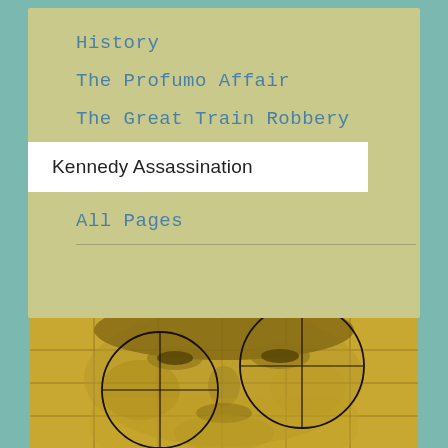History
The Profumo Affair
The Great Train Robbery
Kennedy Assassination
All Pages
[Figure (photo): Sepia-toned photograph of JFK's face with two crosshair/target circles overlaid — one on the left side of the face, one on the right — set against a grid background. The image is printed in a yellow-brown monotone.]